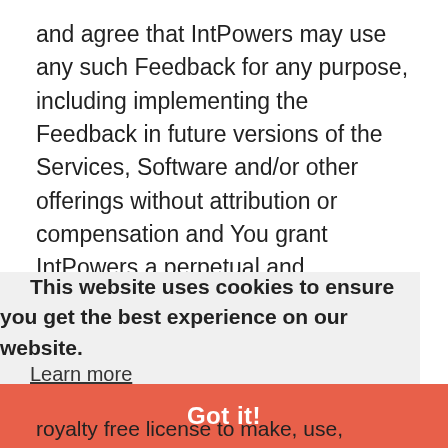and agree that IntPowers may use any such Feedback for any purpose, including implementing the Feedback in future versions of the Services, Software and/or other offerings without attribution or compensation and You grant IntPowers a perpetual and irrevocable license to use all Your Feedback for any purpose. You represent and warrant that Your Feedback will not include any of Your proprietary or confidential information or of any third party and that You have full authority to grant the foregoing
This website uses cookies to ensure you get the best experience on our website.
Learn more
Got it!
royalty free license to make, use, reproduce, prepare